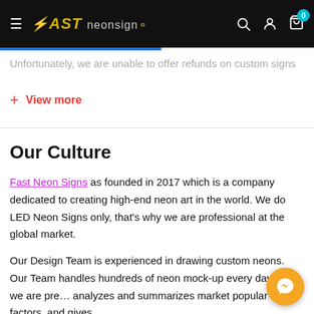Fast Neon Signs — Navigation bar with logo, search, account, and cart (0 items)
Unfortunately, we are unable to offer refunds on custom signs
+ View more
Our Culture
Fast Neon Signs as founded in 2017 which is a company dedicated to creating high-end neon art in the world. We do LED Neon Signs only, that's why we are professional at the global market.
Our Design Team is experienced in drawing custom neons. Our Team handles hundreds of neon mock-up every day and we are pre... analyzes and summarizes market popular factors, and gives... most suitable design suggestions. Design with our team is convenient